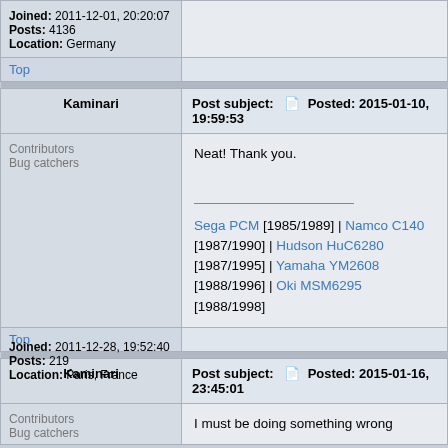Joined: 2011-12-01, 20:20:07
Posts: 4136
Location: Germany
Top
Kaminari | Post subject: Posted: 2015-01-10, 19:59:53
Contributors
Bug catchers
Neat! Thank you.

Sega PCM [1985/1989] | Namco C140 [1987/1990] | Hudson HuC6280 [1987/1995] | Yamaha YM2608 [1988/1996] | Oki MSM6295 [1988/1998]
Joined: 2011-12-28, 19:52:40
Posts: 219
Location: Paris, France
Top
Kaminari | Post subject: Posted: 2015-01-16, 23:45:01
Contributors
Bug catchers
I must be doing something wrong